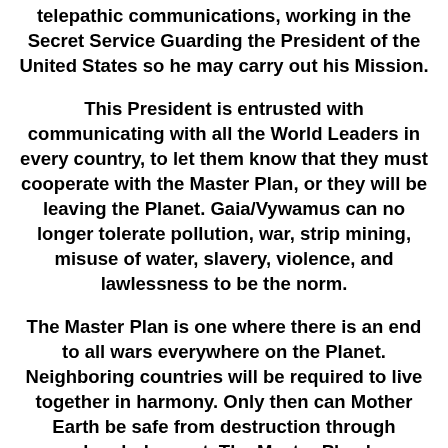telepathic communications, working in the Secret Service Guarding the President of the United States so he may carry out his Mission.
This President is entrusted with communicating with all the World Leaders in every country, to let them know that they must cooperate with the Master Plan, or they will be leaving the Planet. Gaia/Vywamus can no longer tolerate pollution, war, strip mining, misuse of water, slavery, violence, and lawlessness to be the norm.
The Master Plan is one where there is an end to all wars everywhere on the Planet. Neighboring countries will be required to live together in harmony. Only then can Mother Earth be safe from destruction through nuclear holocaust. The Master Plan has provisions for No Nukes. The end of Nuclear proliferation is at hand, it will no longer be tolerated.
All countries must work together to accomplish this.